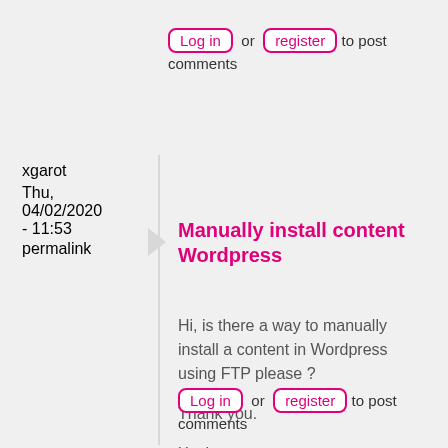Log in or register to post comments
xgarot
Thu, 04/02/2020 - 11:53
permalink
Manually install content Wordpress
Hi, is there a way to manually install a content in Wordpress using FTP please ?

Thank you.

Xavier
Log in or register to post comments